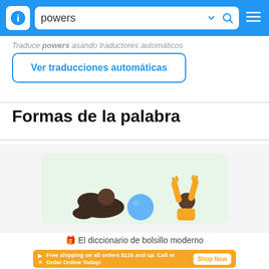powers
Traduce powers asando traductores automáticos
Ver traducciones automáticas
Formas de la palabra
[Figure (illustration): Illustration of people with a ball on a light green background, representing the dictionary app]
🎁 El diccionario de bolsillo moderno
Free shipping on all orders $125 and up. Call or Order Online Today! Shop Now